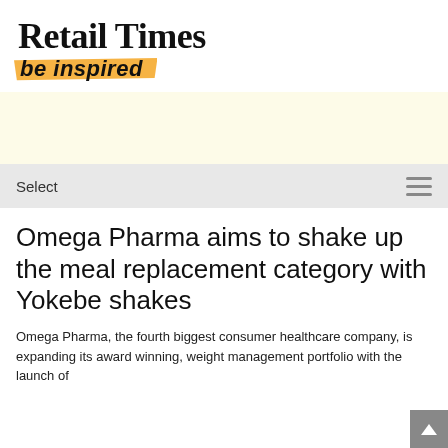Retail Times
be inspired
[Figure (other): Yellow advertisement banner placeholder]
Select
Omega Pharma aims to shake up the meal replacement category with Yokebe shakes
Omega Pharma, the fourth biggest consumer healthcare company, is expanding its award winning, weight management portfolio with the launch of